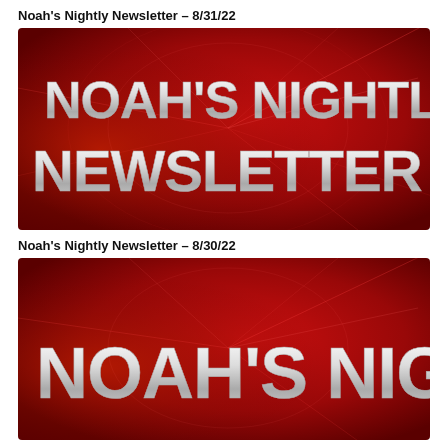Noah's Nightly Newsletter – 8/31/22
[Figure (illustration): Red banner graphic with white bold text reading NOAH'S NIGHTLY NEWSLETTER on a dark red background with abstract light ray design]
Noah's Nightly Newsletter – 8/30/22
[Figure (illustration): Red banner graphic with white bold text reading NOAH'S NIGHTLY on a dark red background with abstract light ray design, partially visible]